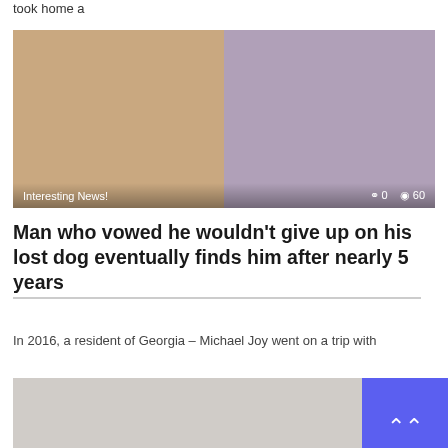took home a
[Figure (photo): Two side-by-side video stills showing a bearded man with a dog, overlaid with label 'Interesting News!' and stats '0 comments, 60 views']
Man who vowed he wouldn't give up on his lost dog eventually finds him after nearly 5 years
In 2016, a resident of Georgia – Michael Joy went on a trip with
[Figure (photo): Partial second article image, light gray placeholder]